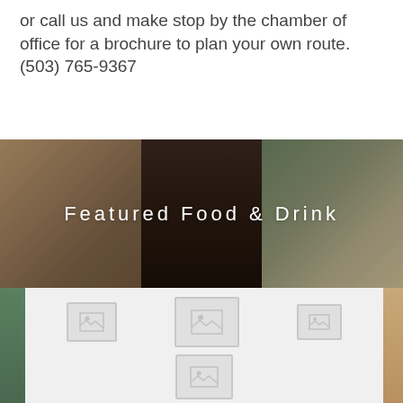or call us and make stop by the chamber of office for a brochure to plan your own route. (503) 765-9367
[Figure (photo): Banner background with blurred indoor/outdoor scene, warm brown tones with dark center column]
Featured Food & Drink
[Figure (other): Grid of image placeholder thumbnails in a light gray card panel overlapping the banner]